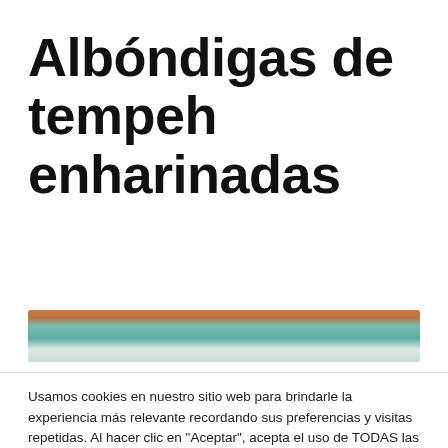Albóndigas de tempeh enharinadas
[Figure (photo): Partial photo of a teal/turquoise plate with food, top edge visible]
Usamos cookies en nuestro sitio web para brindarle la experiencia más relevante recordando sus preferencias y visitas repetidas. Al hacer clic en "Aceptar", acepta el uso de TODAS las cookies.
Cookies Personalizadas  ACEPTAR